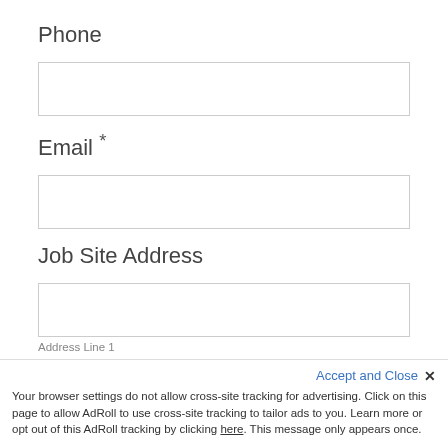Phone
[Figure (other): Empty text input field for Phone]
Email *
[Figure (other): Empty text input field for Email]
Job Site Address
[Figure (other): Empty text input field for Address Line 1]
Address Line 1
[Figure (other): Empty text input field for City]
City
Accept and Close ✕
Your browser settings do not allow cross-site tracking for advertising. Click on this page to allow AdRoll to use cross-site tracking to tailor ads to you. Learn more or opt out of this AdRoll tracking by clicking here. This message only appears once.